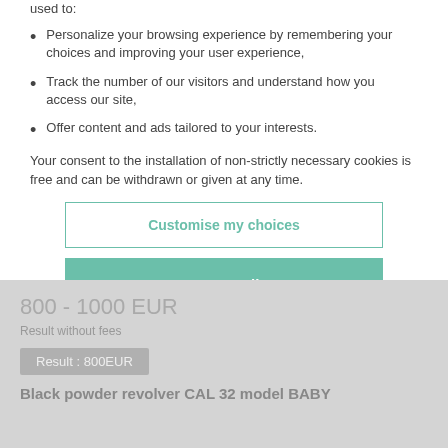used to:
Personalize your browsing experience by remembering your choices and improving your user experience,
Track the number of our visitors and understand how you access our site,
Offer content and ads tailored to your interests.
Your consent to the installation of non-strictly necessary cookies is free and can be withdrawn or given at any time.
Customise my choices
Accept all
800 - 1000 EUR
Result without fees
Result : 800EUR
Black powder revolver CAL 32 model BABY